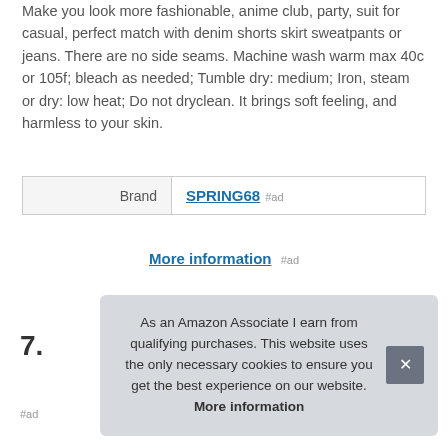Make you look more fashionable, anime club, party, suit for casual, perfect match with denim shorts skirt sweatpants or jeans. There are no side seams. Machine wash warm max 40c or 105f; bleach as needed; Tumble dry: medium; Iron, steam or dry: low heat; Do not dryclean. It brings soft feeling, and harmless to your skin.
| Brand |  |
| --- | --- |
| Brand | SPRING68 #ad |
More information #ad
7.
As an Amazon Associate I earn from qualifying purchases. This website uses the only necessary cookies to ensure you get the best experience on our website. More information